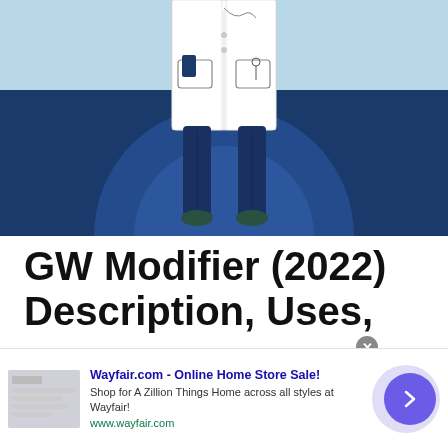[Figure (illustration): Illustration of a medical professional (doctor/nurse) from waist down, wearing a white coat with pockets containing items like a notepad. The figure stands on a dark navy blue background with a lighter blue semicircle behind them. Light blue stripe at the top of the image.]
GW Modifier (2022) Description, Uses,
Wayfair.com - Online Home Store Sale! Shop for A Zillion Things Home across all styles at Wayfair! www.wayfair.com